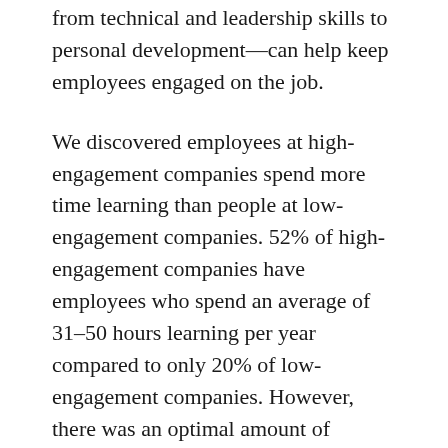from technical and leadership skills to personal development—can help keep employees engaged on the job.
We discovered employees at high-engagement companies spend more time learning than people at low-engagement companies. 52% of high-engagement companies have employees who spend an average of 31–50 hours learning per year compared to only 20% of low-engagement companies. However, there was an optimal amount of learning between 31–50 hours. After 50–70+ hours, the impact of learning on engagement tapered off. Check out our ROI of learning infographic.
To create a learning culture, it's essential to